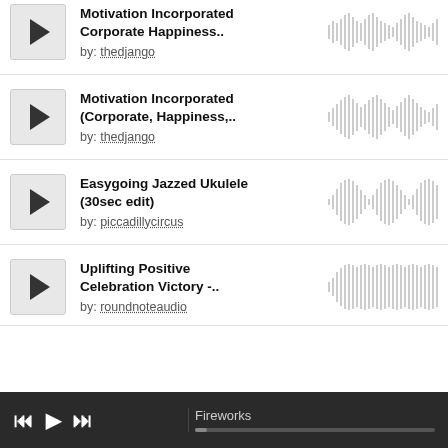Motivation Incorporated Corporate Happiness.. by: thedjango
Motivation Incorporated (Corporate, Happiness,... by: thedjango
Easygoing Jazzed Ukulele (30sec edit) by: piccadillycircus
Uplifting Positive Celebration Victory -... by: roundnoteaudio
Fireworks